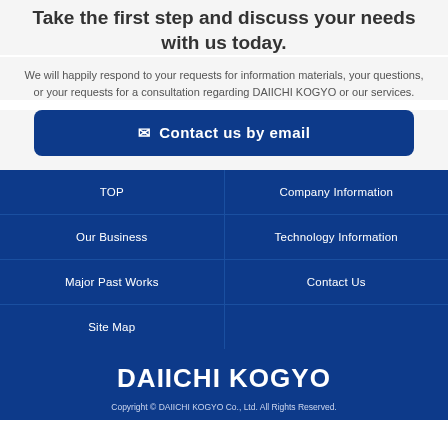Take the first step and discuss your needs with us today.
We will happily respond to your requests for information materials, your questions, or your requests for a consultation regarding DAIICHI KOGYO or our services.
Contact us by email
TOP
Company Information
Our Business
Technology Information
Major Past Works
Contact Us
Site Map
DAIICHI KOGYO
Copyright © DAIICHI KOGYO Co., Ltd. All Rights Reserved.